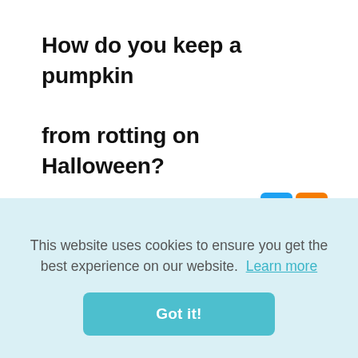How do you keep a pumpkin from rotting on Halloween?
[Figure (other): Social media share icons: Twitter (blue) and Blogger (orange)]
How to Keep Pumpkins From Rotting This Halloween Clean the inside as much as possible. Give it a bleach-water bath after you carve it. Apply petroleum jelly. Rehydrate the pumpkin daily. Store it in the fridge overnight. Give it an ice bath. Don't use real
This website uses cookies to ensure you get the best experience on our website.  Learn more
Got it!